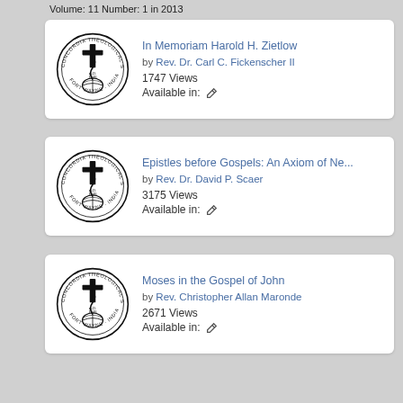Volume: 11 Number: 1 in 2013
In Memoriam Harold H. Zietlow by Rev. Dr. Carl C. Fickenscher II | 1747 Views | Available in: ✏
Epistles before Gospels: An Axiom of Ne... by Rev. Dr. David P. Scaer | 3175 Views | Available in: ✏
Moses in the Gospel of John by Rev. Christopher Allan Maronde | 2671 Views | Available in: ✏